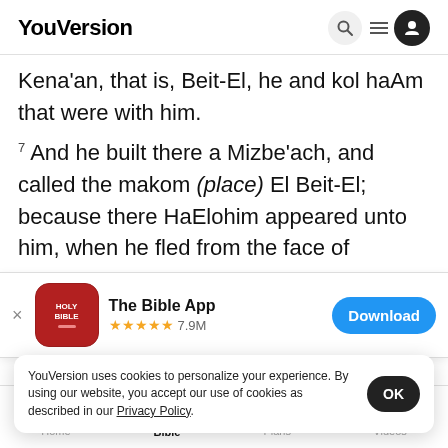YouVersion
Kena'an, that is, Beit-El, he and kol haAm that were with him.
7 And he built there a Mizbe'ach, and called the makom (place) El Beit-El; because there HaElohim appeared unto him, when he fled from the face of
[Figure (screenshot): The Bible App banner with app icon showing HOLY BIBLE, star rating 7.9M reviews, and Download button]
Devorah meineKet Rivkah died, and was bu... shmo w...
YouVersion uses cookies to personalize your experience. By using our website, you accept our use of cookies as described in our Privacy Policy.
Home  Bible  Plans  Videos